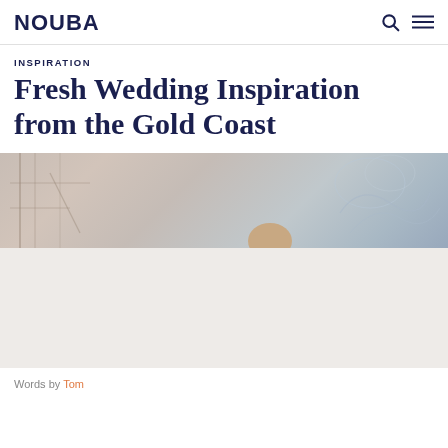NOUBA
INSPIRATION
Fresh Wedding Inspiration from the Gold Coast
[Figure (photo): Hero image showing a wedding inspiration scene from the Gold Coast, with a person visible and a decorative background with scaffolding and artistic elements]
Words by Tom